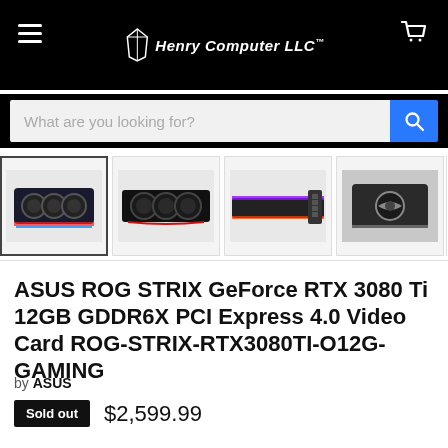Henry Computer LLC™
[Figure (screenshot): Search bar with placeholder text 'What are you looking for?' and blue search button]
[Figure (photo): Product image thumbnails: four views of ASUS ROG STRIX GeForce RTX 3080 Ti graphics card, first thumbnail selected with border]
ASUS ROG STRIX GeForce RTX 3080 Ti 12GB GDDR6X PCI Express 4.0 Video Card ROG-STRIX-RTX3080TI-O12G-GAMING
by ASUS
Sold out  $2,599.99